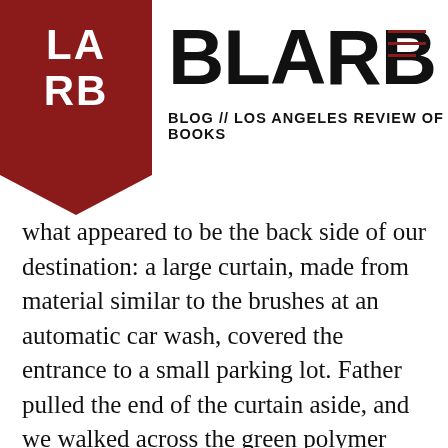BLARB // BLOG // LOS ANGELES REVIEW OF BOOKS
what appeared to be the back side of our destination: a large curtain, made from material similar to the brushes at an automatic car wash, covered the entrance to a small parking lot. Father pulled the end of the curtain aside, and we walked across the green polymer parking-lot floor to a small entrance lobby.
It was a “love motel” — the kind, I learned, that typically charge by the hour, but Father had made special arrangements for me to stay at this motel overnight, like a real hotel guest. The man at the front desk offered to Father some rental DVDs, but Father waved